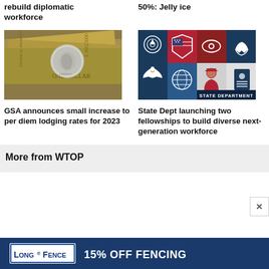rebuild diplomatic workforce
50%: Jelly ice
[Figure (photo): Close-up photo of US dollar bills with a quarter coin on top]
GSA announces small increase to per diem lodging rates for 2023
[Figure (illustration): State Department graphic with icons: signal tower, US flag shield, eye, hands, eagle, globe, official figure, passport. Dark navy background with STATE DEPARTMENT text.]
State Dept launching two fellowships to build diverse next-generation workforce
More from WTOP
[Figure (other): Advertisement: Long Fence 15% OFF FENCING. Dark blue background with white text.]